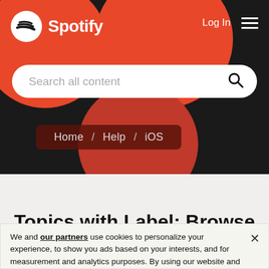[Figure (screenshot): Spotify website header with logo, navigation, decorative red circles on dark background, and search bar]
Home / Help / iOS
Topics with Label: Browse
We and our partners use cookies to personalize your experience, to show you ads based on your interests, and for measurement and analytics purposes. By using our website and services, you agree to our use of